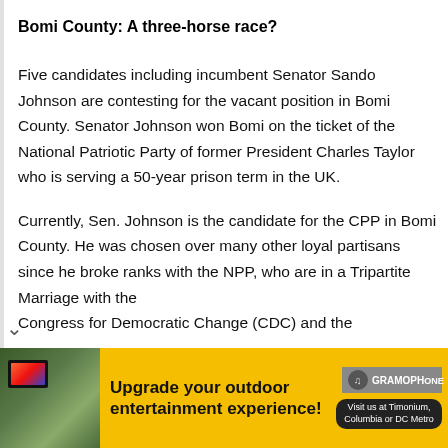Bomi County: A three-horse race?
Five candidates including incumbent Senator Sando Johnson are contesting for the vacant position in Bomi County. Senator Johnson won Bomi on the ticket of the National Patriotic Party of former President Charles Taylor who is serving a 50-year prison term in the UK.
Currently, Sen. Johnson is the candidate for the CPP in Bomi County. He was chosen over many other loyal partisans since he broke ranks with the NPP, who are in a Tripartite Marriage with the Congress for Democratic Change (CDC) and the
[Figure (other): Advertisement banner for Gramophone: 'Upgrade your outdoor entertainment experience! Visit us at Timonium, Columbia or DC Metro']